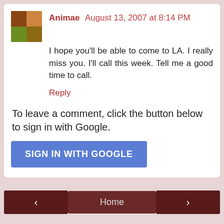Animae  August 13, 2007 at 8:14 PM
I hope you'll be able to come to LA. I really miss you. I'll call this week. Tell me a good time to call.
Reply
To leave a comment, click the button below to sign in with Google.
[Figure (screenshot): Blue button labeled SIGN IN WITH GOOGLE]
[Figure (screenshot): Navigation bar with left arrow button, Home button, and right arrow button, and View web version link below]